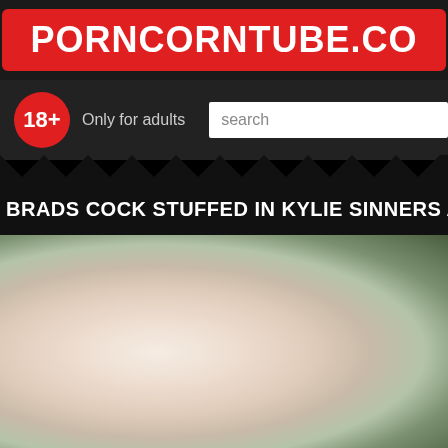PORNCORNTUBE.CO
18+  Only for adults
search
BRADS COCK STUFFED IN KYLIE SINNERS A
[Figure (photo): Close-up blurred video thumbnail showing skin tones with dark background on right side]